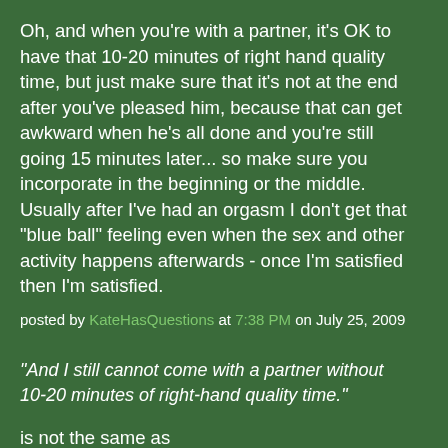Oh, and when you're with a partner, it's OK to have that 10-20 minutes of right hand quality time, but just make sure that it's not at the end after you've pleased him, because that can get awkward when he's all done and you're still going 15 minutes later... so make sure you incorporate in the beginning or the middle. Usually after I've had an orgasm I don't get that "blue ball" feeling even when the sex and other activity happens afterwards - once I'm satisfied then I'm satisfied.
posted by KateHasQuestions at 7:38 PM on July 25, 2009
"And I still cannot come with a partner without 10-20 minutes of right-hand quality time."
is not the same as
"Girl who can't come with partners."